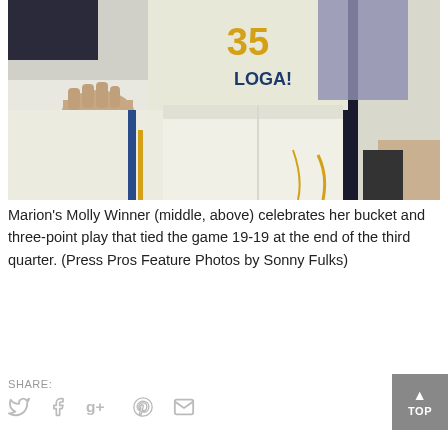[Figure (photo): Basketball players in white uniforms with gold and blue accents. The center player wears number 35 with 'LOGA' visible on jersey. Players are huddled together celebrating. Close-up shot showing torsos and hands.]
Marion's Molly Winner (middle, above) celebrates her bucket and three-point play that tied the game 19-19 at the end of the third quarter. (Press Pros Feature Photos by Sonny Fulks)
SHARE: